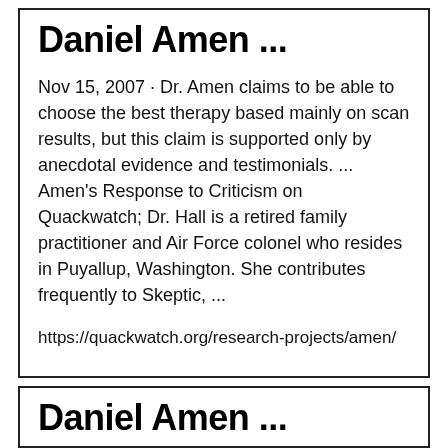Daniel Amen ...
Nov 15, 2007  · Dr. Amen claims to be able to choose the best therapy based mainly on scan results, but this claim is supported only by anecdotal evidence and testimonials. ... Amen's Response to Criticism on Quackwatch; Dr. Hall is a retired family practitioner and Air Force colonel who resides in Puyallup, Washington. She contributes frequently to Skeptic, ...
https://quackwatch.org/research-projects/amen/
Daniel Amen ...